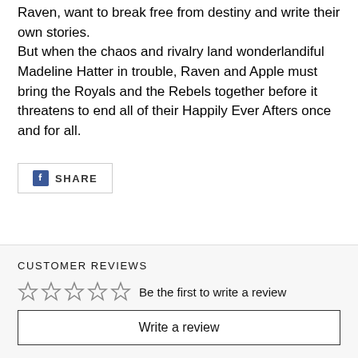Raven, want to break free from destiny and write their own stories.
But when the chaos and rivalry land wonderlandiful Madeline Hatter in trouble, Raven and Apple must bring the Royals and the Rebels together before it threatens to end all of their Happily Ever Afters once and for all.
[Figure (other): Facebook Share button with 'f' logo icon and 'SHARE' text]
CUSTOMER REVIEWS
[Figure (other): Five empty star rating icons followed by 'Be the first to write a review' text]
Write a review